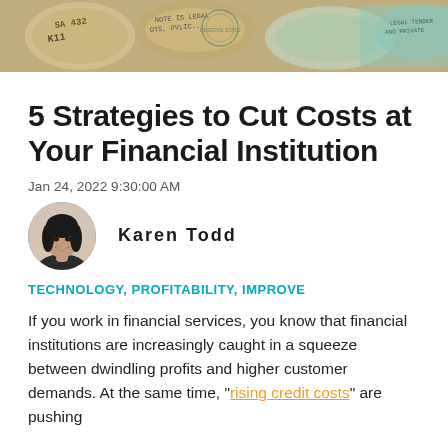[Figure (photo): Hero banner image showing rolled-up US dollar bills with text markings visible, including 'K11', 'SA 432', and other currency markings.]
5 Strategies to Cut Costs at Your Financial Institution
Jan 24, 2022 9:30:00 AM
[Figure (photo): Circular portrait photo of Karen Todd, a woman with dark hair, smiling.]
Karen Todd
TECHNOLOGY, PROFITABILITY, IMPROVE
If you work in financial services, you know that financial institutions are increasingly caught in a squeeze between dwindling profits and higher customer demands. At the same time, "rising credit costs" are pushing